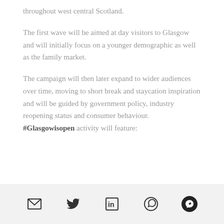throughout west central Scotland.
The first wave will be aimed at day visitors to Glasgow and will initially focus on a younger demographic as well as the family market.
The campaign will then later expand to wider audiences over time, moving to short break and staycation inspiration and will be guided by government policy, industry reopening status and consumer behaviour. #Glasgowisopen activity will feature:
Social share icons: email, twitter, linkedin, whatsapp, messenger